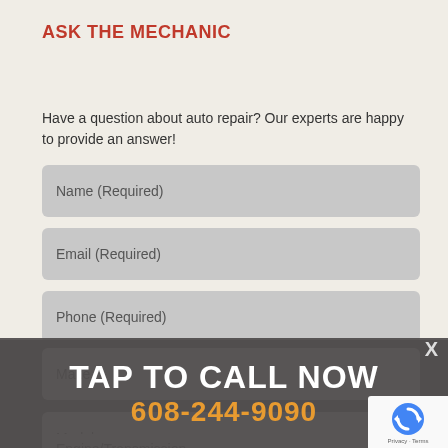ASK THE MECHANIC
Have a question about auto repair? Our experts are happy to provide an answer!
[Figure (screenshot): Web form with input fields: Name (Required), Email (Required), Phone (Required), Year, Make, Model, Engine/Transmission. An overlay popup shows 'TAP TO CALL NOW' and phone number '608-244-9090'. A close button 'X' and reCAPTCHA badge are also visible.]